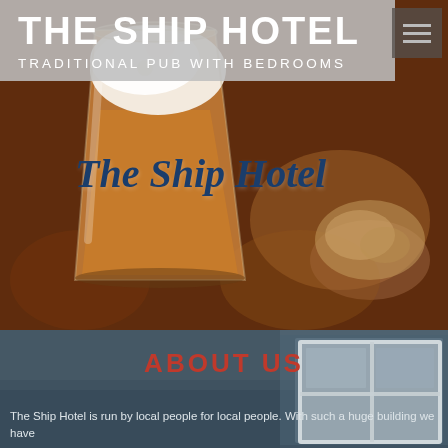[Figure (photo): Hero image of a pint glass of beer (amber beer with white foam head) on a wooden table, with blurred background of what appears to be nuts or food. The photo has warm brown and amber tones.]
THE SHIP HOTEL
TRADITIONAL PUB WITH BEDROOMS
[Figure (logo): Cursive script logo reading 'The Ship Hotel' in dark navy blue italic font overlaid on the hero beer image]
[Figure (photo): Bottom section showing exterior of a blue-grey building with a large white-framed window, slightly dark/muted tones]
ABOUT US
The Ship Hotel is run by local people for local people. With such a huge building we have